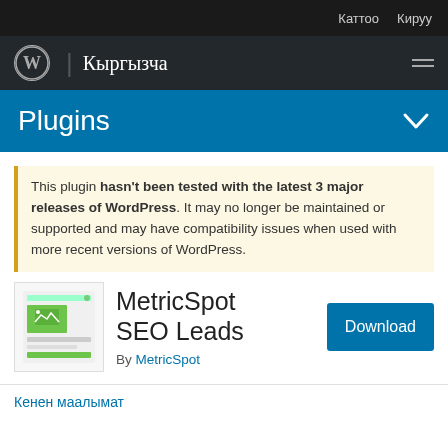Каттоо  Кируу
Кыргызча
Plugins
This plugin hasn't been tested with the latest 3 major releases of WordPress. It may no longer be maintained or supported and may have compatibility issues when used with more recent versions of WordPress.
[Figure (illustration): Plugin icon thumbnail showing a green UI widget with image placeholder and form fields]
MetricSpot SEO Leads
By MetricSpot
Download
Кенен маалымат